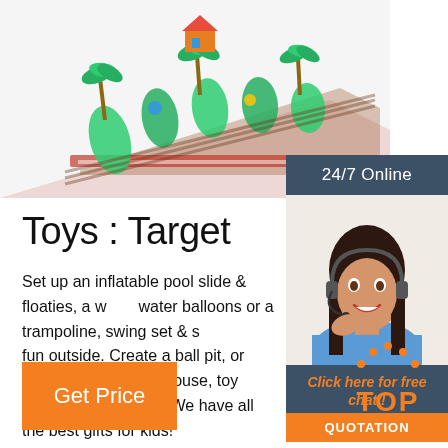[Figure (photo): Inflatable obstacle course/playground with palm trees, colorful tropical-themed design, viewed from above at an angle]
[Figure (photo): 24/7 Online chat widget showing a smiling female customer service representative wearing a headset]
Toys : Target
Set up an inflatable pool slide & floaties, a water balloons or a trampoline, swing set & slides for fun outside. Create a ball pit, or play with a kids playhouse, toy sports or a kids tent. We have all the best gifts for kids!
[Figure (other): Get Price orange button]
[Figure (other): TOP badge with orange dots forming an arch above the word TOP]